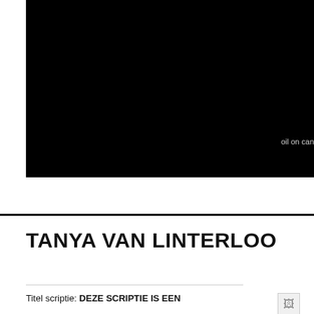[Figure (photo): Large black image, presumably a dark artwork or painting, with the text 'oil on can' partially visible in grey at the lower right area of the image.]
oil on can
TANYA VAN LINTERLOO
Titel scriptie: DEZE SCRIPTIE IS EEN